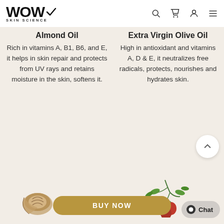WOW SKIN SCIENCE
Almond Oil
Rich in vitamins A, B1, B6, and E, it helps in skin repair and protects from UV rays and retains moisture in the skin, softens it.
Extra Virgin Olive Oil
High in antioxidant and vitamins A, D & E, it neutralizes free radicals, protects, nourishes and hydrates skin.
[Figure (illustration): Illustrated almond nut cross-section]
[Figure (illustration): Illustrated red berries on a branch]
BUY NOW
Chat